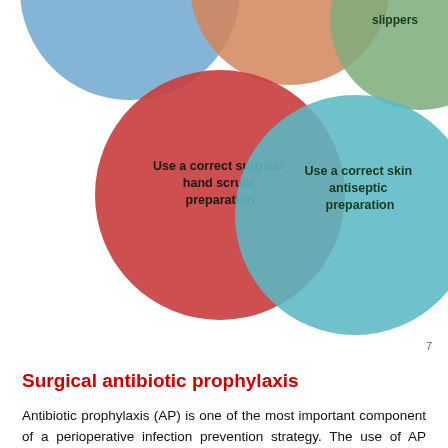[Figure (infographic): Bubble diagram showing overlapping colored circles with text labels: a red circle 'Use a correct surgical hand scrub/preparation', a teal/blue circle 'Use a correct skin antiseptic preparation', a blue circle (partially visible top left), an orange circle (partially visible top center), and a green circle (partially visible top right with partial text 'slippers'). Page number 7 in bottom right.]
Surgical antibiotic prophylaxis
Antibiotic prophylaxis (AP) is one of the most important component of a perioperative infection prevention strategy. The use of AP contributes considerably to the total amount of antibiotics used in hospitals and may be associated with increases in antibiotic resistance and healthcare costs. Although AP plays a pivotal role in reducing the rate of surgical site